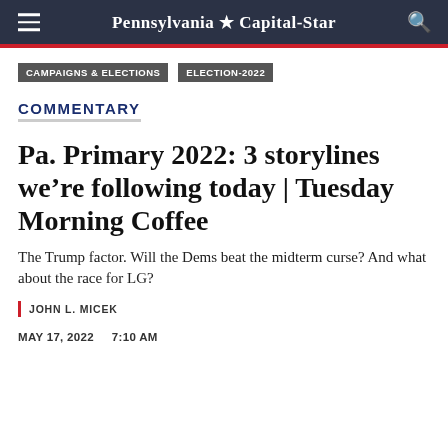Pennsylvania ★ Capital-Star
CAMPAIGNS & ELECTIONS
ELECTION-2022
COMMENTARY
Pa. Primary 2022: 3 storylines we're following today | Tuesday Morning Coffee
The Trump factor. Will the Dems beat the midterm curse? And what about the race for LG?
| JOHN L. MICEK
MAY 17, 2022    7:10 AM